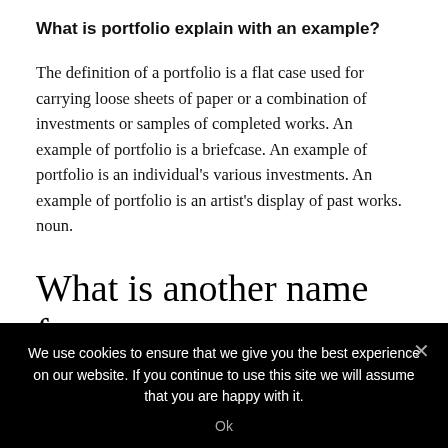What is portfolio explain with an example?
The definition of a portfolio is a flat case used for carrying loose sheets of paper or a combination of investments or samples of completed works. An example of portfolio is a briefcase. An example of portfolio is an individual's various investments. An example of portfolio is an artist's display of past works. noun.
What is another name for portfolio?
We use cookies to ensure that we give you the best experience on our website. If you continue to use this site we will assume that you are happy with it.